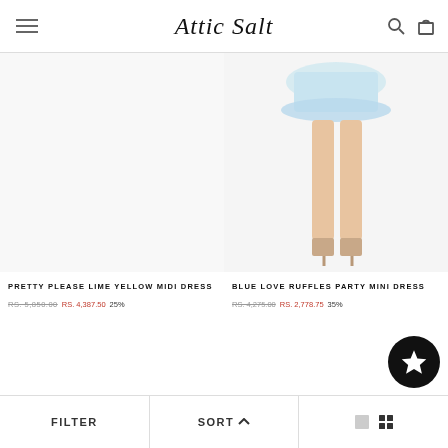Attic Salt - navigation header with hamburger menu, logo, search and cart icons
[Figure (photo): Product listing for Pretty Please Lime Yellow Midi Dress - empty white product image area]
PRETTY PLEASE LIME YELLOW MIDI DRESS
RS. 5,850.00  RS. 4,387.50  25%
[Figure (photo): Product listing for Blue Love Ruffles Party Mini Dress - model wearing light blue ruffled mini dress, showing legs]
BLUE LOVE RUFFLES PARTY MINI DRESS
RS. 4,275.00  RS. 2,778.75  35%
FILTER | SORT ^ | view toggle icons